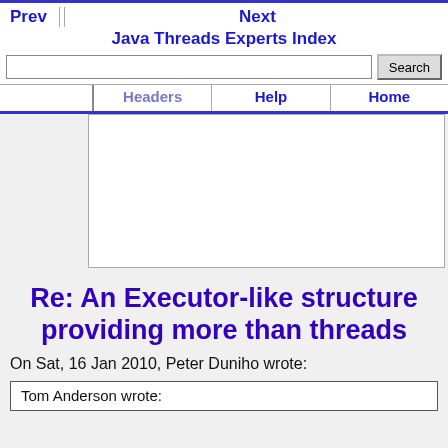Prev | Java Threads Experts Index | Next | Search | Headers | Help | Home
[Figure (other): Advertisement banner placeholder (white rectangle)]
Re: An Executor-like structure providing more than threads
On Sat, 16 Jan 2010, Peter Duniho wrote:
Tom Anderson wrote: